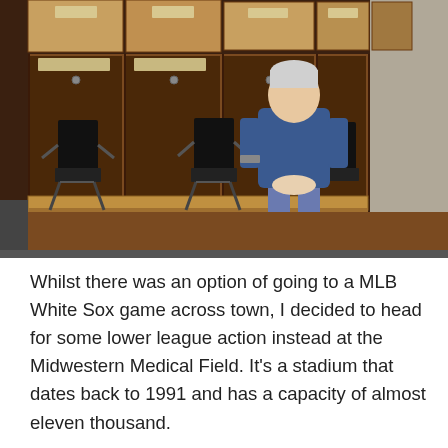[Figure (photo): A person with grey hair wearing a blue shirt and blue shorts sits on a wooden bench in a baseball team locker room, surrounded by wooden lockers with folding chairs in front of them.]
Whilst there was an option of going to a MLB White Sox game across town, I decided to head for some lower league action instead at the Midwestern Medical Field. It's a stadium that dates back to 1991 and has a capacity of almost eleven thousand.